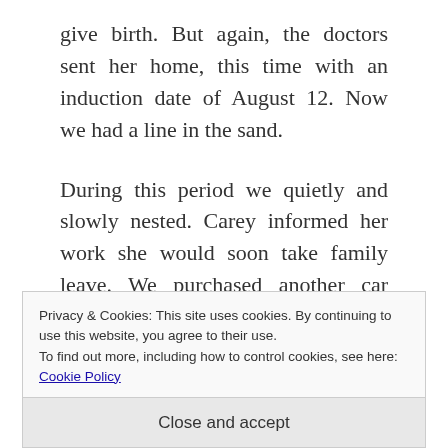give birth. But again, the doctors sent her home, this time with an induction date of August 12. Now we had a line in the sand.
During this period we quietly and slowly nested. Carey informed her work she would soon take family leave. We purchased another car seat, finally resolving that saga. We did not,
Privacy & Cookies: This site uses cookies. By continuing to use this website, you agree to their use. To find out more, including how to control cookies, see here: Cookie Policy
Close and accept
the grandparents relinquished their